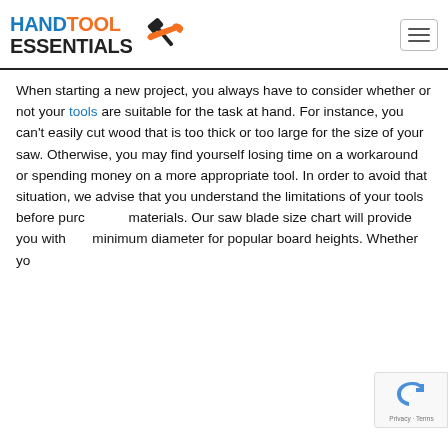HANDTOOL ESSENTIALS
When starting a new project, you always have to consider whether or not your tools are suitable for the task at hand. For instance, you can't easily cut wood that is too thick or too large for the size of your saw. Otherwise, you may find yourself losing time on a workaround or spending money on a more appropriate tool. In order to avoid that situation, we advise that you understand the limitations of your tools before purchasing materials. Our saw blade size chart will provide you with the minimum diameter for popular board heights. Whether you're...